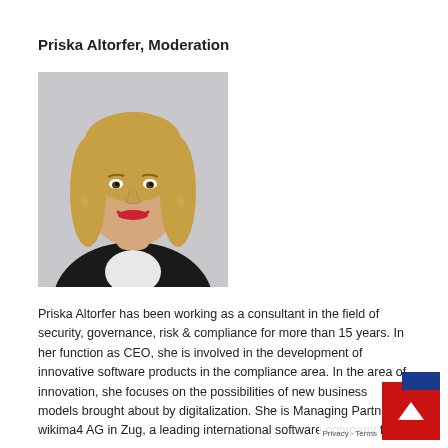Priska Altorfer, Moderation
[Figure (photo): Professional headshot of Priska Altorfer, a blonde woman in a black jacket with white shirt, smiling, against a light grey background.]
Priska Altorfer has been working as a consultant in the field of security, governance, risk & compliance for more than 15 years. In her function as CEO, she is involved in the development of innovative software products in the compliance area. In the area of innovation, she focuses on the possibilities of new business models brought about by digitalization. She is Managing Partner of wikima4 AG in Zug, a leading international software company for